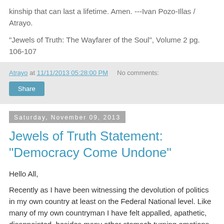kinship that can last a lifetime. Amen. ---Ivan Pozo-Illas / Atrayo.
"Jewels of Truth: The Wayfarer of the Soul", Volume 2 pg. 106-107
Atrayo at 11/11/2013 05:28:00 PM   No comments:
Share
Saturday, November 09, 2013
Jewels of Truth Statement: "Democracy Come Undone"
Hello All,
Recently as I have been witnessing the devolution of politics in my own country at least on the Federal National level. Like many of my own countryman I have felt appalled, apathetic, disappointed, besides many other stomach turning emotions.